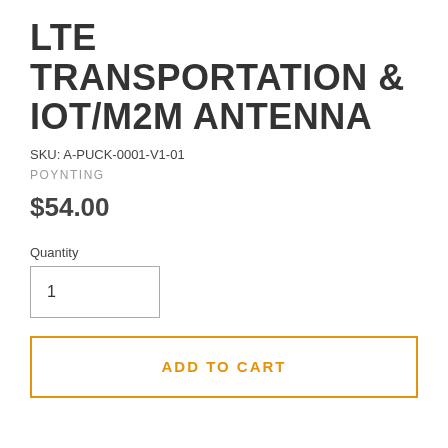LTE TRANSPORTATION & IOT/M2M ANTENNA
SKU: A-PUCK-0001-V1-01
POYNTING
$54.00
Quantity
1
ADD TO CART